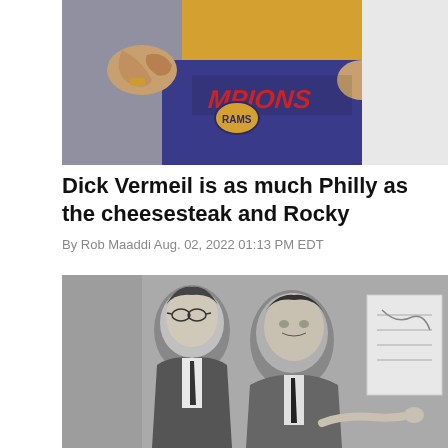[Figure (photo): Color photograph showing football jerseys — blue and gold/yellow colors with what appears to be a 'CHAMPIONS' text and a Los Angeles Rams helmet logo visible]
Dick Vermeil is as much Philly as the cheesesteak and Rocky
By Rob Maaddi Aug. 02, 2022 01:13 PM EDT
[Figure (photo): Black and white photograph of two men in suits, one wearing glasses, appearing to be in discussion near a whiteboard or diagram]